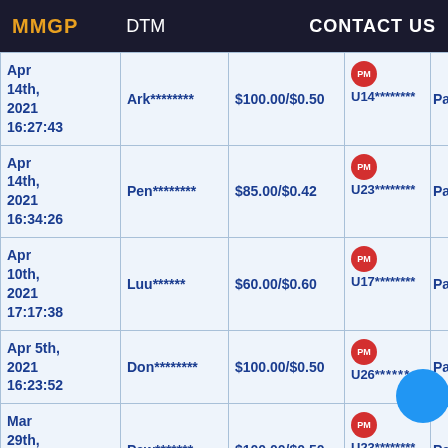MMGP   DTM   CONTACT US
| Date | DTM | Amount | User | Status |
| --- | --- | --- | --- | --- |
| Apr 14th, 2021 16:27:43 | Ark******** | $100.00/$0.50 | PM U14******** | Pai |
| Apr 14th, 2021 16:34:26 | Pen******** | $85.00/$0.42 | PM U23******** | Pai |
| Apr 10th, 2021 17:17:38 | Luu****** | $60.00/$0.60 | PM U17******** | Pai |
| Apr 5th, 2021 16:23:52 | Don******** | $100.00/$0.50 | PM U26***** | Pai |
| Mar 29th, 2021 07:25:43 | Paw******* | $100.00/$0.50 | PM U23******** | Pai |
| Mar ... |  |  |  |  |